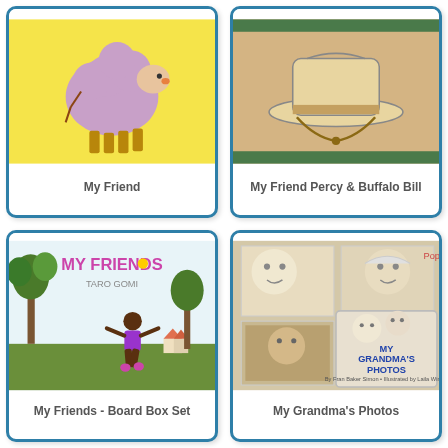[Figure (illustration): Book cover for 'My Friend' showing illustrated animals including what appears to be a sheep or bird on yellow background]
My Friend
[Figure (illustration): Book cover for 'My Friend Percy & Buffalo Bill' showing an illustration of a cowboy hat on wooden background]
My Friend Percy & Buffalo Bill
[Figure (illustration): Book cover for 'My Friends - Board Box Set' by Taro Gomi showing a girl running outdoors with trees]
My Friends - Board Box Set
[Figure (illustration): Book cover for 'My Grandma's Photos' showing collaged photographs of babies and elderly people]
My Grandma's Photos